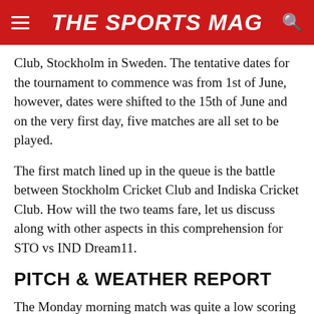THE SPORTS MAG
Club, Stockholm in Sweden. The tentative dates for the tournament to commence was from 1st of June, however, dates were shifted to the 15th of June and on the very first day, five matches are all set to be played.
The first match lined up in the queue is the battle between Stockholm Cricket Club and Indiska Cricket Club. How will the two teams fare, let us discuss along with other aspects in this comprehension for STO vs IND Dream11.
PITCH & WEATHER REPORT
The Monday morning match was quite a low scoring as the batsmen failed to find boundaries. The team batting first scored at 11 runs an over in the first three overs and failed to get even run-a-ball in the following seven overs with just one boundary. The chasing side's innings also went same